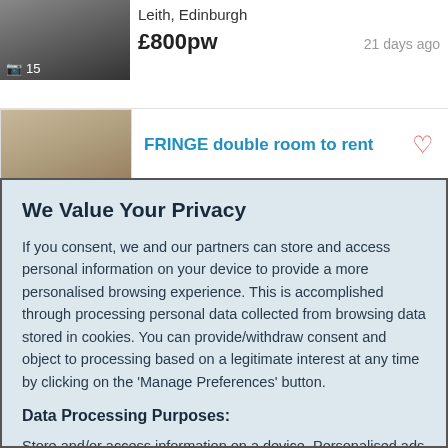[Figure (photo): Thumbnail photo of a room listing with camera icon and count showing 15 photos]
Leith, Edinburgh
£800pw
21 days ago
[Figure (photo): Thumbnail photo of a room interior for FRINGE double room listing]
FRINGE double room to rent
We Value Your Privacy
If you consent, we and our partners can store and access personal information on your device to provide a more personalised browsing experience. This is accomplished through processing personal data collected from browsing data stored in cookies. You can provide/withdraw consent and object to processing based on a legitimate interest at any time by clicking on the 'Manage Preferences' button.
Data Processing Purposes:
Store and/or access information on a device. Personalised ads and content, ad and content measurement, audience insights and product development.
List of Partners (vendors)
Accept
Manage your privacy settings